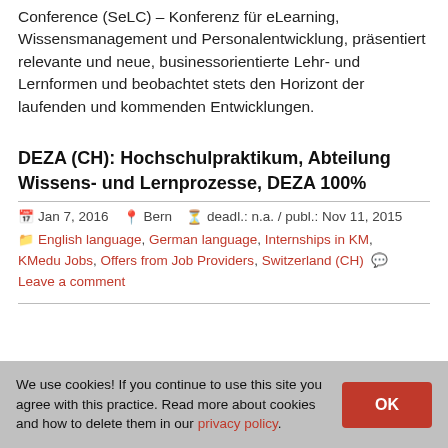Conference (SeLC) – Konferenz für eLearning, Wissensmanagement und Personalentwicklung, präsentiert relevante und neue, businessorientierte Lehr- und Lernformen und beobachtet stets den Horizont der laufenden und kommenden Entwicklungen.
DEZA (CH): Hochschulpraktikum, Abteilung Wissens- und Lernprozesse, DEZA 100%
Jan 7, 2016  Bern  deadl.: n.a. / publ.: Nov 11, 2015
English language, German language, Internships in KM, KMedu Jobs, Offers from Job Providers, Switzerland (CH)  Leave a comment
We use cookies! If you continue to use this site you agree with this practice. Read more about cookies and how to delete them in our privacy policy.